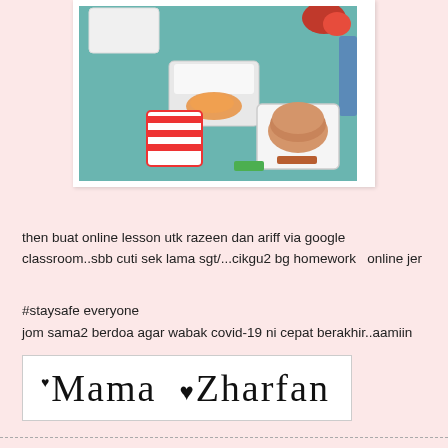[Figure (photo): Overhead view of food containers and snacks on a teal/green table surface, including what appear to be crackers, chips in a container, and a plastic lunch box]
then buat online lesson utk razeen dan ariff via google classroom..sbb cuti sek lama sgt/...cikgu2 bg homework  online jer
#staysafe everyone
jom sama2 berdoa agar wabak covid-19 ni cepat berakhir..aamiin
[Figure (illustration): Cursive signature logo reading 'Mama Zharfan' with small heart decorations]